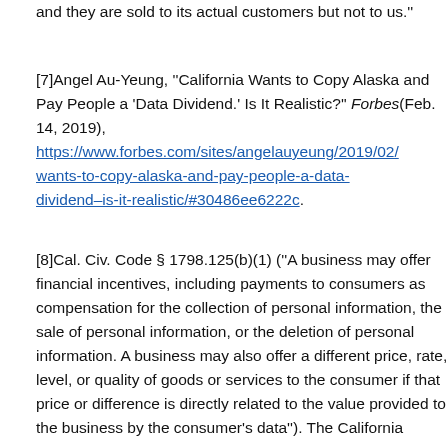and they are sold to its actual customers but not to us.''
[7]Angel Au-Yeung, ''California Wants to Copy Alaska and Pay People a 'Data Dividend.' Is It Realistic?'' Forbes (Feb. 14, 2019), https://www.forbes.com/sites/angelauyeung/2019/02/wants-to-copy-alaska-and-pay-people-a-data-dividend–is-it-realistic/#30486ee6222c.
[8]Cal. Civ. Code § 1798.125(b)(1) (''A business may offer financial incentives, including payments to consumers as compensation for the collection of personal information, the sale of personal information, or the deletion of personal information. A business may also offer a different price, rate, level, or quality of goods or services to the consumer if that price or difference is directly related to the value provided to the business by the consumer's data''). The California